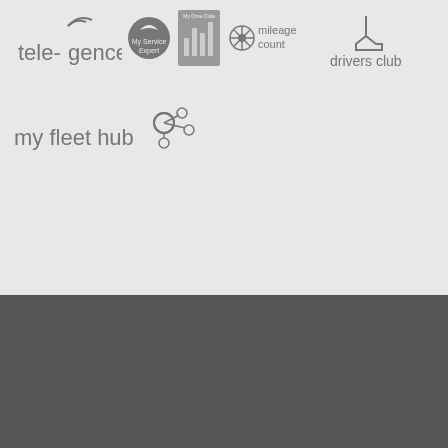[Figure (logo): tele-gence logo in grey]
[Figure (logo): My Service Expert circular logo in grey]
[Figure (logo): My Drive Data logo with bar chart icon in grey]
[Figure (logo): mileage count logo with snowflake icon in grey]
[Figure (logo): drivers club logo with boot icon in grey]
[Figure (logo): my fleet hub logo with connected circles in grey]
in partnership with